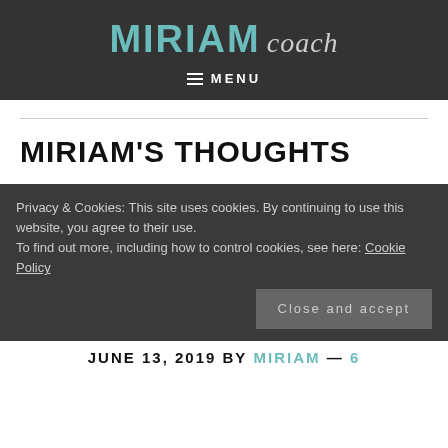MIRIAM coach
MENU
MIRIAM'S THOUGHTS
Privacy & Cookies: This site uses cookies. By continuing to use this website, you agree to their use.
To find out more, including how to control cookies, see here: Cookie Policy
Close and accept
JUNE 13, 2019 BY MIRIAM — 6